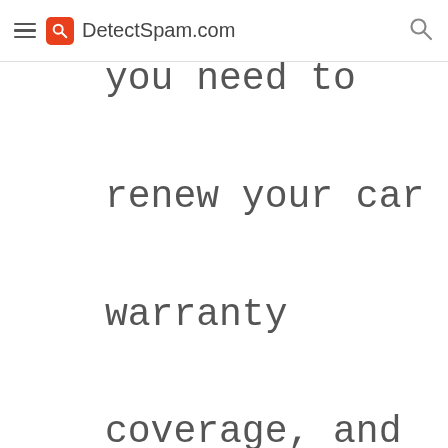DetectSpam.com
you need to renew your car warranty coverage, and that they have already sent you the